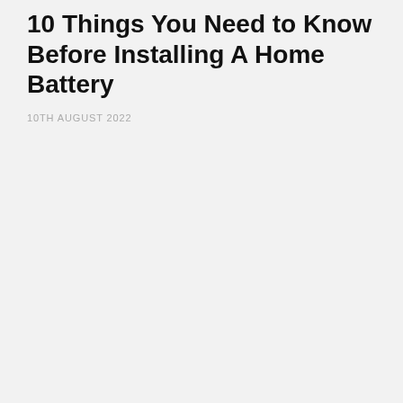10 Things You Need to Know Before Installing A Home Battery
10TH AUGUST 2022